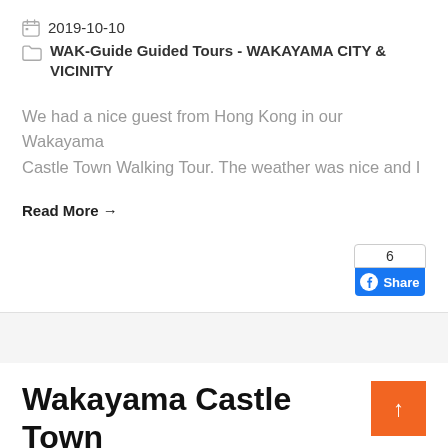2019-10-10
WAK-Guide Guided Tours - WAKAYAMA CITY & VICINITY
We had a nice guest from Hong Kong in our Wakayama Castle Town Walking Tour. The weather was nice and I
Read More →
[Figure (screenshot): Facebook share button with count of 6]
Wakayama Castle Town Walking Tour 09/28/2019
2019-09-29